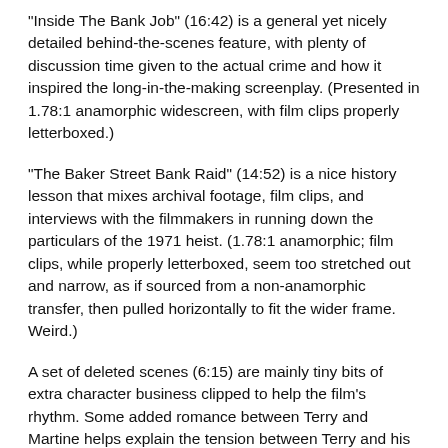"Inside The Bank Job" (16:42) is a general yet nicely detailed behind-the-scenes feature, with plenty of discussion time given to the actual crime and how it inspired the long-in-the-making screenplay. (Presented in 1.78:1 anamorphic widescreen, with film clips properly letterboxed.)
"The Baker Street Bank Raid" (14:52) is a nice history lesson that mixes archival footage, film clips, and interviews with the filmmakers in running down the particulars of the 1971 heist. (1.78:1 anamorphic; film clips, while properly letterboxed, seem too stretched out and narrow, as if sourced from a non-anamorphic transfer, then pulled horizontally to fit the wider frame. Weird.)
A set of deleted scenes (6:15) are mainly tiny bits of extra character business clipped to help the film's rhythm. Some added romance between Terry and Martine helps explain the tension between Terry and his wife later in the movie. Optional